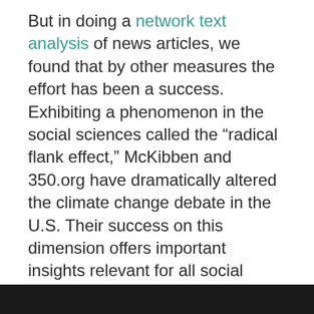But in doing a network text analysis of news articles, we found that by other measures the effort has been a success. Exhibiting a phenomenon in the social sciences called the “radical flank effect,” McKibben and 350.org have dramatically altered the climate change debate in the U.S. Their success on this dimension offers important insights relevant for all social activists to consider.